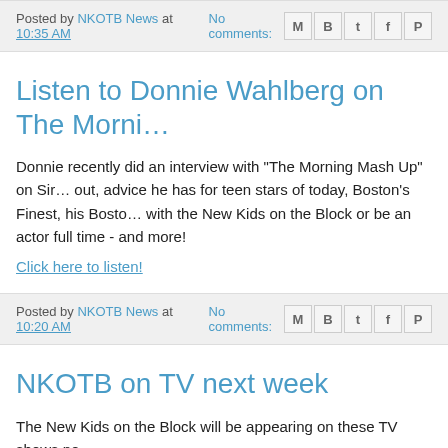Posted by NKOTB News at 10:35 AM   No comments:
Listen to Donnie Wahlberg on The Morning Mash Up
Donnie recently did an interview with "The Morning Mash Up" on Sirius XM. He talks about starting out, advice he has for teen stars of today, Boston's Finest, his Boston accent, whether he'll tour with the New Kids on the Block or be an actor full time - and more!
Click here to listen!
Posted by NKOTB News at 10:20 AM   No comments:
NKOTB on TV next week
The New Kids on the Block will be appearing on these TV shows next week:
Wednesday, April 3:
Today Show